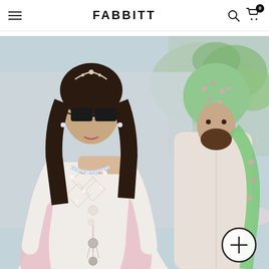FABBITT
[Figure (photo): A woman in an embroidered white traditional Pakistani outfit with sunglasses and a diamond choker necklace stands in the foreground. Behind her is a man in a cream sherwani with a green floral dupatta/turban. The setting appears to be an outdoor wedding or formal event with floral decorations.]